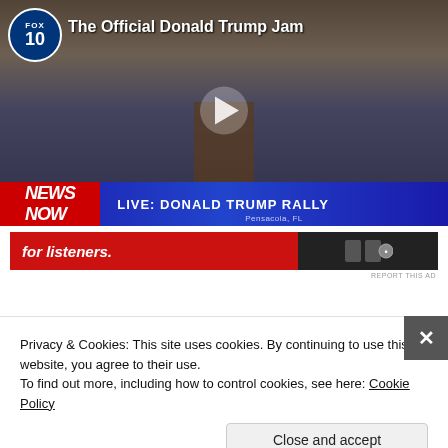[Figure (screenshot): Fox 10 video player showing 'The Official Donald Trump Jam' with a live news bar reading 'LIVE: DONALD TRUMP RALLY Pensacola, FL'. Two children in patriotic costumes stand at a podium at a campaign rally.]
[Figure (screenshot): Red advertisement banner partially visible with text 'for listeners.' and media controls.]
REPORT THIS AD
Privacy & Cookies: This site uses cookies. By continuing to use this website, you agree to their use.
To find out more, including how to control cookies, see here: Cookie Policy
Close and accept